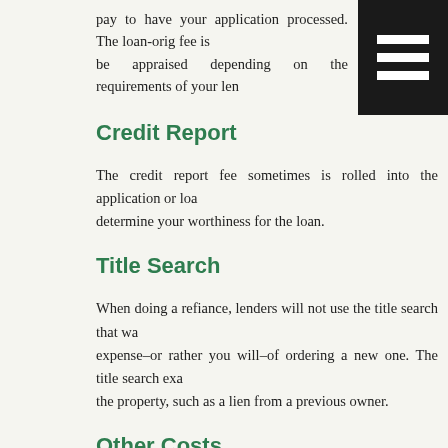pay to have your application processed. The loan-orig... fee is... be appraised depending on the requirements of your len...
Credit Report
The credit report fee sometimes is rolled into the application or loa... determine your worthiness for the loan.
Title Search
When doing a refiance, lenders will not use the title search that wa... expense–or rather you will–of ordering a new one. The title search exa... the property, such as a lien from a previous owner.
Other Costs
If the lender wants a survey of the property, you can be charged for th...